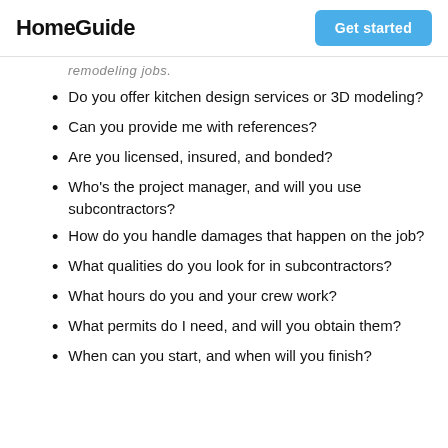HomeGuide | Get started
remodeling jobs.
Do you offer kitchen design services or 3D modeling?
Can you provide me with references?
Are you licensed, insured, and bonded?
Who's the project manager, and will you use subcontractors?
How do you handle damages that happen on the job?
What qualities do you look for in subcontractors?
What hours do you and your crew work?
What permits do I need, and will you obtain them?
When can you start, and when will you finish?